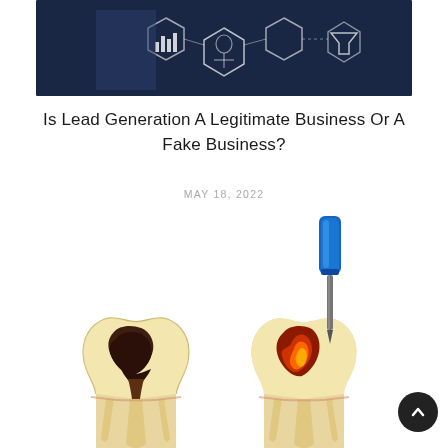[Figure (photo): Dark blue background image showing a person interacting with hexagonal technology/analytics interface icons including bar charts and funnel symbols]
Is Lead Generation A Legitimate Business Or A Fake Business?
MAY 18, 2022
[Figure (illustration): Medical illustration showing two cross-section views of teeth: left tooth showing decay/cavity, right tooth showing a dental tool/instrument being inserted for root canal treatment]